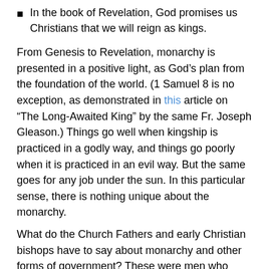In the book of Revelation, God promises us Christians that we will reign as kings.
From Genesis to Revelation, monarchy is presented in a positive light, as God’s plan from the foundation of the world. (1 Samuel 8 is no exception, as demonstrated in this article on “The Long-Awaited King” by the same Fr. Joseph Gleason.) Things go well when kingship is practiced in a godly way, and things go poorly when it is practiced in an evil way. But the same goes for any job under the sun. In this particular sense, there is nothing unique about the monarchy.
What do the Church Fathers and early Christian bishops have to say about monarchy and other forms of government? These were men who knew the Scriptures better than any others: